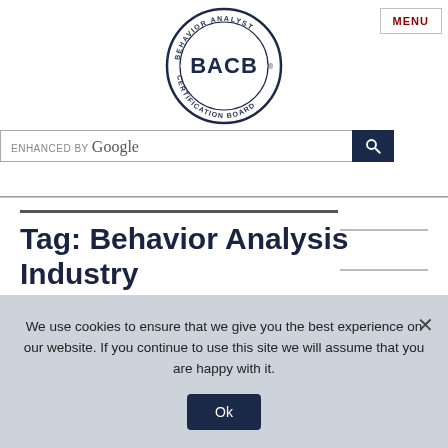[Figure (logo): BACB Behavior Analyst Certification Board circular logo with globe graphic]
MENU
ENHANCED BY Google
Tag: Behavior Analysis Industry
We use cookies to ensure that we give you the best experience on our website. If you continue to use this site we will assume that you are happy with it.